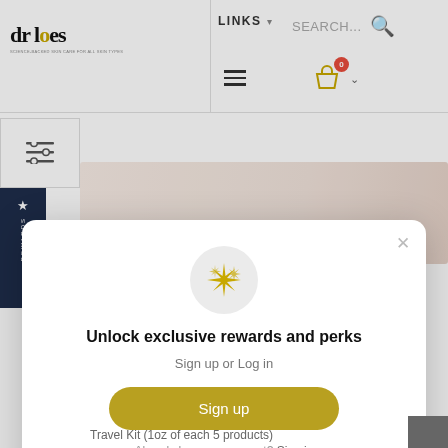[Figure (screenshot): Dr Loes website header with logo, navigation links, search bar, hamburger menu, and shopping cart icon with badge showing 0 items]
[Figure (screenshot): Filter icon button on left side and dark navy blue rewards panel on left edge]
[Figure (screenshot): Product image showing skincare items in pink/beige tones]
Unlock exclusive rewards and perks
Sign up or Log in
Sign up
Already have an account? Sign in
Travel Kit (1oz of each 5 products)